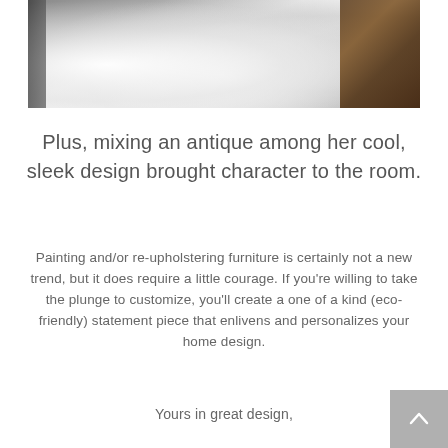[Figure (photo): Close-up photograph of a white fluffy fur texture (possibly a sheepskin or fluffy rug) with dark brown wood visible in the upper right corner.]
Plus, mixing an antique among her cool, sleek design brought character to the room.
Painting and/or re-upholstering furniture is certainly not a new trend, but it does require a little courage. If you're willing to take the plunge to customize, you'll create a one of a kind (eco-friendly) statement piece that enlivens and personalizes your home design.
Yours in great design,